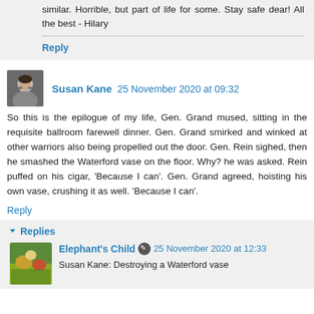similar. Horrible, but part of life for some. Stay safe dear! All the best - Hilary
Reply
Susan Kane 25 November 2020 at 09:32
So this is the epilogue of my life, Gen. Grand mused, sitting in the requisite ballroom farewell dinner. Gen. Grand smirked and winked at other warriors also being propelled out the door. Gen. Rein sighed, then he smashed the Waterford vase on the floor. Why? he was asked. Rein puffed on his cigar, 'Because I can'. Gen. Grand agreed, hoisting his own vase, crushing it as well. 'Because I can'.
Reply
Replies
Elephant's Child 25 November 2020 at 12:33
Susan Kane: Destroying a Waterford vase